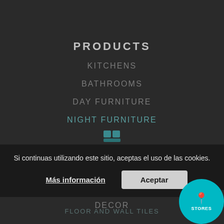PRODUCTS
KITCHENS
BATHROOMS
DAY FURNITURE
NIGHT FURNITURE
WARDROBES AND CLOSETS
DOORS
OUTDOOR FURNITURE
DECOR
Si continuas utilizando este sitio, aceptas el uso de las cookies.
Más información
Aceptar
FLOOR AND WALL TILES